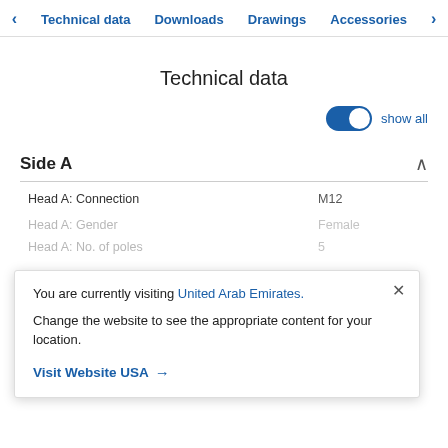Technical data | Downloads | Drawings | Accessories
Technical data
show all
Side A
| Property | Value |
| --- | --- |
| Head A: Connection | M12 |
| Head A: Gender | Female |
| Head A: No. of poles | 5 |
You are currently visiting United Arab Emirates. Change the website to see the appropriate content for your location. Visit Website USA →